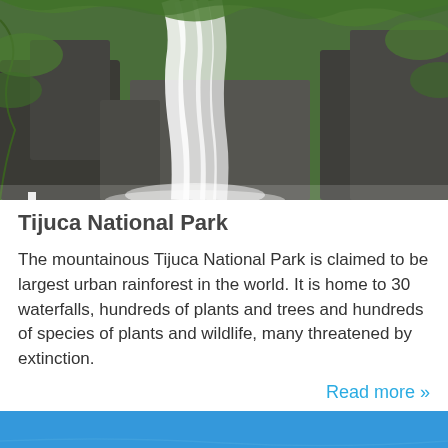[Figure (photo): Waterfall cascading over rocks surrounded by lush green tropical vegetation — Tijuca National Park waterfall scene]
Tijuca National Park
The mountainous Tijuca National Park is claimed to be largest urban rainforest in the world. It is home to 30 waterfalls, hundreds of plants and trees and hundreds of species of plants and wildlife, many threatened by extinction.
Read more »
[Figure (photo): Aerial view of an amusement park with a Ferris wheel, roller coasters, and water slides set against a blue ocean backdrop]